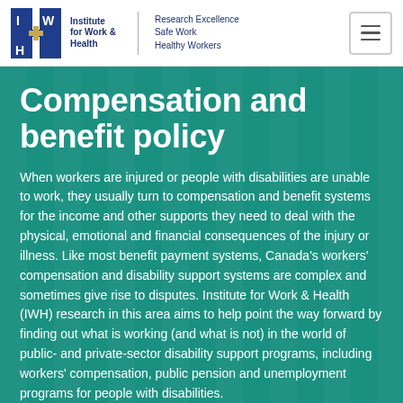Institute for Work & Health | Research Excellence Safe Work Healthy Workers
Compensation and benefit policy
When workers are injured or people with disabilities are unable to work, they usually turn to compensation and benefit systems for the income and other supports they need to deal with the physical, emotional and financial consequences of the injury or illness. Like most benefit payment systems, Canada's workers' compensation and disability support systems are complex and sometimes give rise to disputes. Institute for Work & Health (IWH) research in this area aims to help point the way forward by finding out what is working (and what is not) in the world of public- and private-sector disability support programs, including workers' compensation, public pension and unemployment programs for people with disabilities.